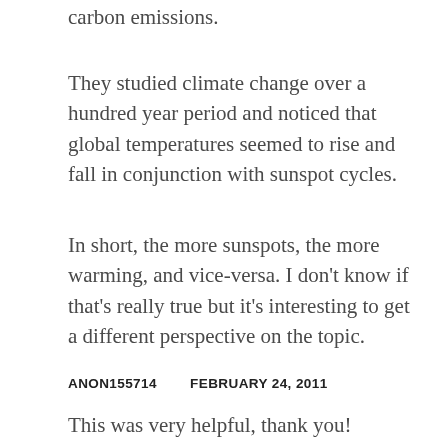carbon emissions.
They studied climate change over a hundred year period and noticed that global temperatures seemed to rise and fall in conjunction with sunspot cycles.
In short, the more sunspots, the more warming, and vice-versa. I don’t know if that’s really true but it’s interesting to get a different perspective on the topic.
ANON155714       FEBRUARY 24, 2011
This was very helpful, thank you!